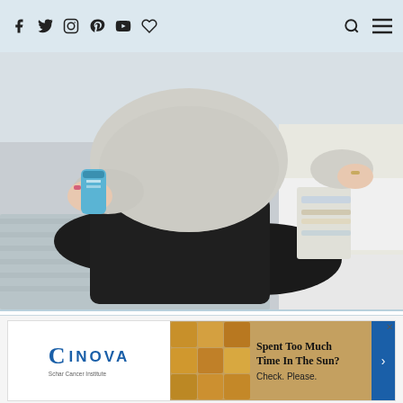Navigation bar with social icons: Facebook, Twitter, Instagram, Pinterest, YouTube, heart/follow icon; search icon and hamburger menu on right
[Figure (photo): Woman sitting cross-legged on a bed with light grey knit blanket, wearing black leggings and a light grey oversized sweater, holding a blue product (cream/lotion tube), with additional products and papers visible to her right side. Photo is cropped to show torso and legs only.]
[Figure (other): INOVA Schar Cancer Institute advertisement banner: left side has INOVA logo on white background, middle has a grid pattern of toast/cracker images in golden/brown tones, right side has text 'Spent Too Much Time In The Sun? Check. Please.' with a blue forward arrow button on the far right. Small X close button top right.]